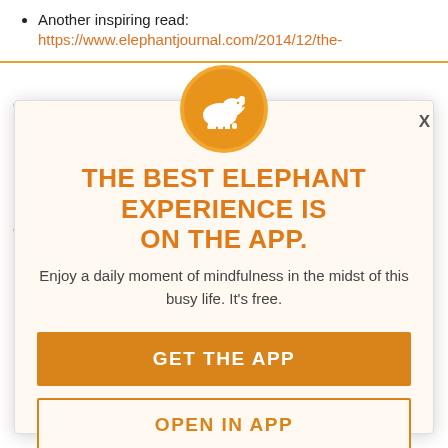Another inspiring read: https://www.elephantjournal.com/2014/12/the-
[Figure (logo): Orange circle with white elephant silhouette logo]
THE BEST ELEPHANT EXPERIENCE IS ON THE APP.
Enjoy a daily moment of mindfulness in the midst of this busy life. It's free.
GET THE APP
OPEN IN APP